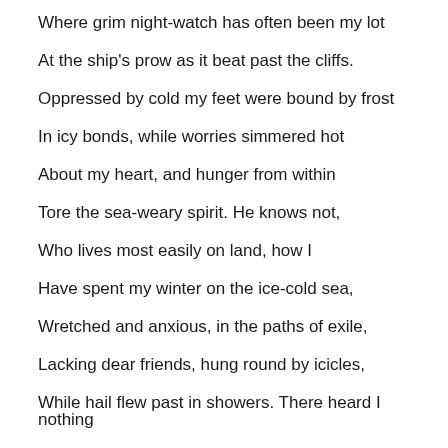Where grim night-watch has often been my lot
At the ship's prow as it beat past the cliffs.
Oppressed by cold my feet were bound by frost
In icy bonds, while worries simmered hot
About my heart, and hunger from within
Tore the sea-weary spirit. He knows not,
Who lives most easily on land, how I
Have spent my winter on the ice-cold sea,
Wretched and anxious, in the paths of exile,
Lacking dear friends, hung round by icicles,
While hail flew past in showers. There heard I nothing